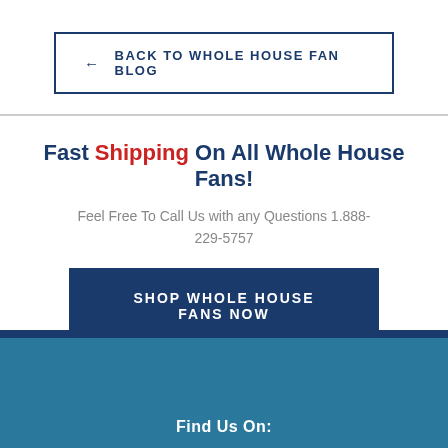← BACK TO WHOLE HOUSE FAN BLOG
Fast Shipping On All Whole House Fans!
Feel Free To Call Us with any Questions 1.888-229-5757
SHOP WHOLE HOUSE FANS NOW
Find Us On: